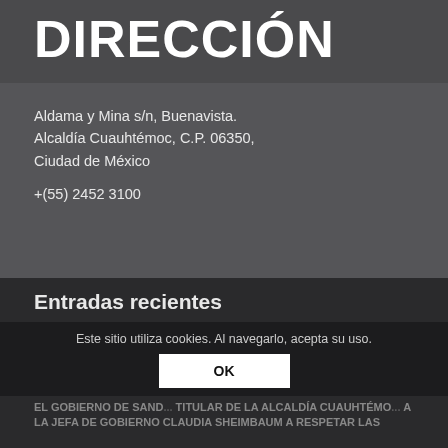DIRECCIÓN
Aldama y Mina s/n, Buenavista.
Alcaldía Cuauhtémoc, C.P. 06350,
Ciudad de México

+(55) 2452 3100
Entradas recientes
Este sitio utiliza cookies. Al navegarlo, acepta su uso.
OK
EL GOBIERNO DE SAND... TITULAR DE LA ALCALDÍA CUAUHTÉMO... A LA JEFA DE GOBIERNO CLAUDIA SHEIMBAUM A RESPETAR LAS